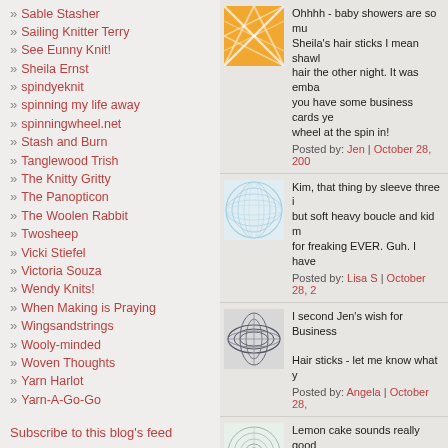» Sable Stasher
» Sailing Knitter Terry
» See Eunny Knit!
» Sheila Ernst
» spindyeknit
» spinning my life away
» spinningwheel.net
» Stash and Burn
» Tanglewood Trish
» The Knitty Gritty
» The Panopticon
» The Woolen Rabbit
» Twosheep
» Vicki Stiefel
» Victoria Souza
» Wendy Knits!
» When Making is Praying
» Wingsandstrings
» Wooly-minded
» Woven Thoughts
» Yarn Harlot
» Yarn-A-Go-Go
Subscribe to this blog's feed
Ohhhh - baby showers are so mu... Sheila's hair sticks I mean shawl... hair the other night. It was emba... you have some business cards ye... wheel at the spin in! Posted by: Jen | October 28, 200...
Kim, that thing by sleeve three i... but soft heavy boucle and kid m... for freaking EVER. Guh. I have... Posted by: Lisa S | October 28, 2...
I second Jen's wish for Business... Hair sticks - let me know what y... Posted by: Angela | October 28, ...
Lemon cake sounds really good ... should make a lemon cake, too. ... Posted by: Kerry | October 28, 2...
How you can knit something tha... mind goes numb - totally numb. ... bow before you oh Autopilotus ...